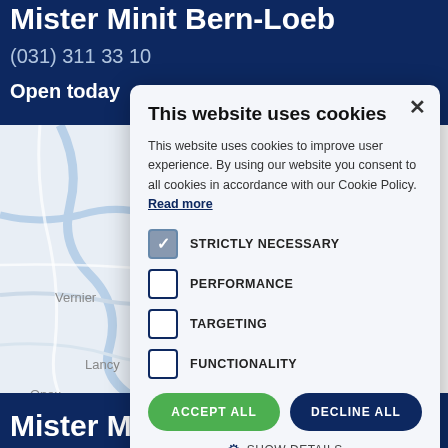Mister Minit Bern-Loeb
(031) 311 33 10
Open today
[Figure (map): Google Maps showing area around Bern with labels: Vernier, Lancy, Onex, Google]
This website uses cookies
This website uses cookies to improve user experience. By using our website you consent to all cookies in accordance with our Cookie Policy. Read more
STRICTLY NECESSARY
PERFORMANCE
TARGETING
FUNCTIONALITY
ACCEPT ALL
DECLINE ALL
SHOW DETAILS
Mister Minit Genève-Globus